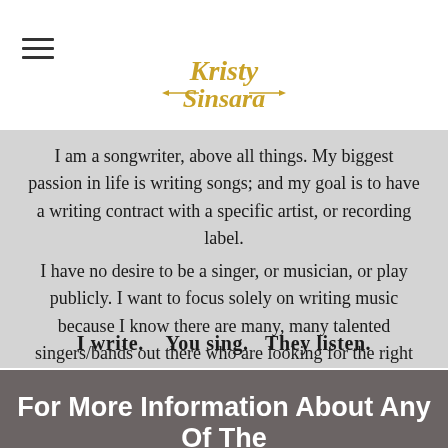Kristy Sinsara (logo)
I am a songwriter, above all things. My biggest passion in life is writing songs; and my goal is to have a writing contract with a specific artist, or recording label.
I have no desire to be a singer, or musician, or play publicly. I want to focus solely on writing music because I know there are many, many talented singers/bands out there who are looking for the right song to connect with their audience.
I write.    You sing.   They listen.
For More Information About Any Of The